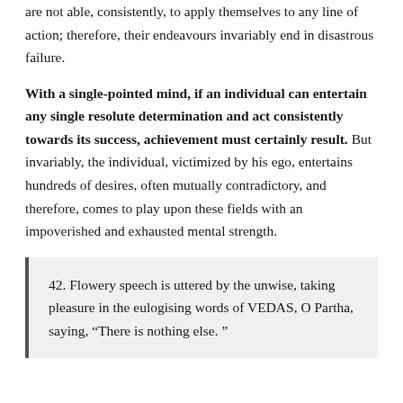are not able, consistently, to apply themselves to any line of action; therefore, their endeavours invariably end in disastrous failure.
With a single-pointed mind, if an individual can entertain any single resolute determination and act consistently towards its success, achievement must certainly result. But invariably, the individual, victimized by his ego, entertains hundreds of desires, often mutually contradictory, and therefore, comes to play upon these fields with an impoverished and exhausted mental strength.
42. Flowery speech is uttered by the unwise, taking pleasure in the eulogising words of VEDAS, O Partha, saying, “There is nothing else. ”